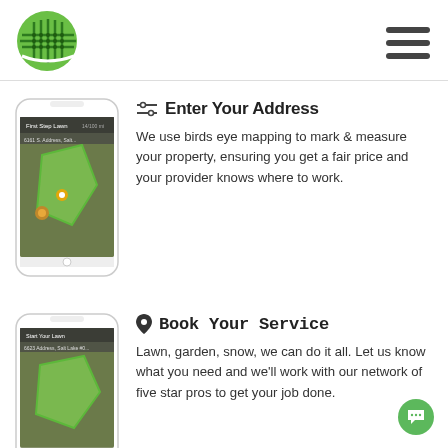[Figure (logo): Green circular logo with grid/lines pattern resembling a lawn or grid icon]
[Figure (screenshot): Smartphone showing a birds eye satellite map view of a property with green outlined lawn area]
Enter Your Address
We use birds eye mapping to mark & measure your property, ensuring you get a fair price and your provider knows where to work.
[Figure (screenshot): Smartphone showing a birds eye satellite map view with a provider profile card at the bottom]
Book Your Service
Lawn, garden, snow, we can do it all. Let us know what you need and we'll work with our network of five star pros to get your job done.